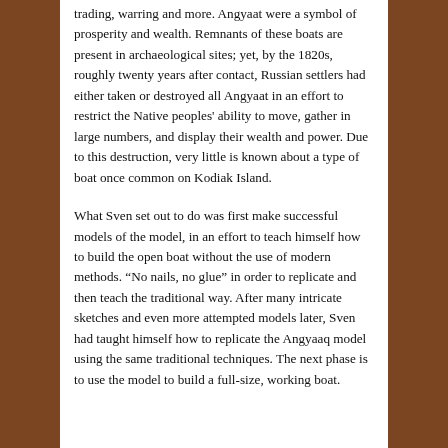trading, warring and more. Angyaat were a symbol of prosperity and wealth. Remnants of these boats are present in archaeological sites; yet, by the 1820s, roughly twenty years after contact, Russian settlers had either taken or destroyed all Angyaat in an effort to restrict the Native peoples' ability to move, gather in large numbers, and display their wealth and power. Due to this destruction, very little is known about a type of boat once common on Kodiak Island.
What Sven set out to do was first make successful models of the model, in an effort to teach himself how to build the open boat without the use of modern methods. “No nails, no glue” in order to replicate and then teach the traditional way. After many intricate sketches and even more attempted models later, Sven had taught himself how to replicate the Angyaaq model using the same traditional techniques. The next phase is to use the model to build a full-size, working boat.